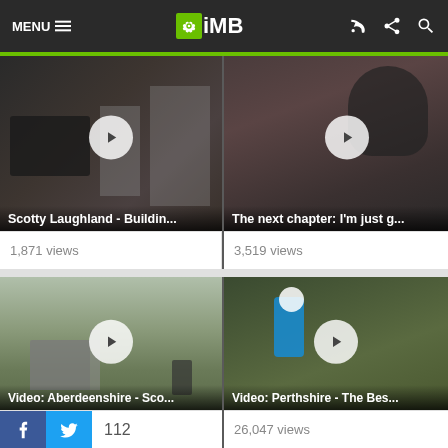MENU ≡  iMB
[Figure (screenshot): Video thumbnail: Scotty Laughland building workshop scene with bike components]
Scotty Laughland - Buildin...
1,871 views
[Figure (screenshot): Video thumbnail: cyclist in helmet side profile - The next chapter]
The next chapter: I'm just g...
3,519 views
[Figure (screenshot): Video thumbnail: mountain biker on rural trail near old shed in Aberdeenshire Scotland]
Video: Aberdeenshire - Sco...
[Figure (screenshot): Video thumbnail: mountain biker riding trail in Perthshire forest]
Video: Perthshire - The Bes...
112
26,047 views